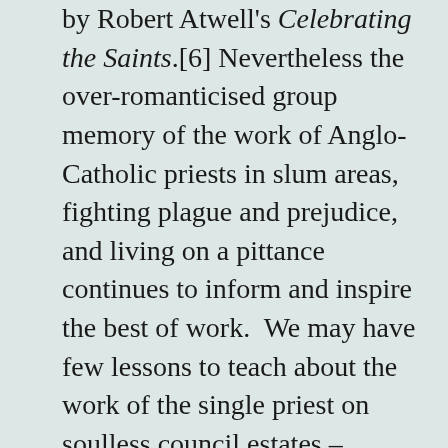by Robert Atwell's Celebrating the Saints.[6] Nevertheless the over-romanticised group memory of the work of Anglo-Catholic priests in slum areas, fighting plague and prejudice, and living on a pittance continues to inform and inspire the best of work.  We may have few lessons to teach about the work of the single priest on soulless council estates – Roman Catholics know this one well – but there is plenty of good practice encapsulated in the notion of the parish priest having the cure of souls for the whole population of his parish. Sometimes this is represented by a civic involvement, often by involvement in Church neighbourhood schools in which there is otherwise little or no Christian life,  always by an